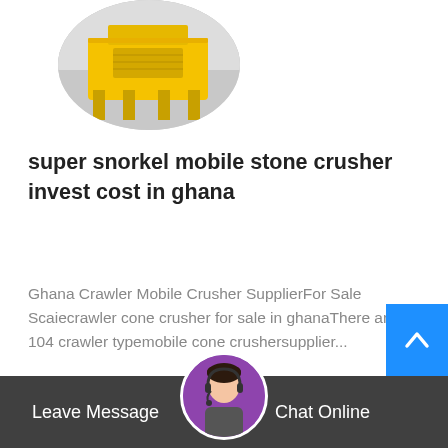[Figure (photo): Circular cropped photo of yellow stone crushing machinery equipment]
super snorkel mobile stone crusher invest cost in ghana
Ghana Crawler Mobile Crusher SupplierFor Sale Scaiecrawler cone crusher for sale in ghanaThere are 104 crawler typemobile cone crushersupplier...
Read More →
[Figure (photo): Circular cropped photo of dark industrial cone crusher machinery in a warehouse]
[Figure (photo): Circular avatar of customer service woman with headset]
Leave Message
Chat Online